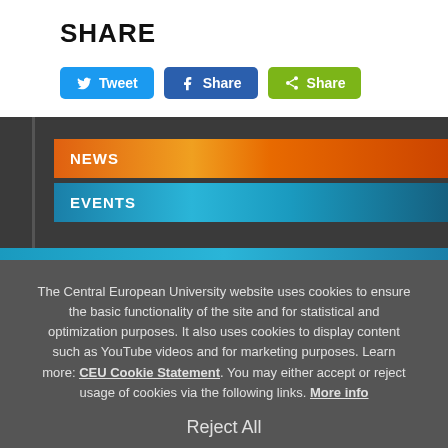SHARE
[Figure (other): Social sharing buttons: Tweet (Twitter/blue), Share (Facebook/blue), Share (green share icon)]
NEWS
EVENTS
The Central European University website uses cookies to ensure the basic functionality of the site and for statistical and optimization purposes. It also uses cookies to display content such as YouTube videos and for marketing purposes. Learn more: CEU Cookie Statement. You may either accept or reject usage of cookies via the following links. More info
Reject All